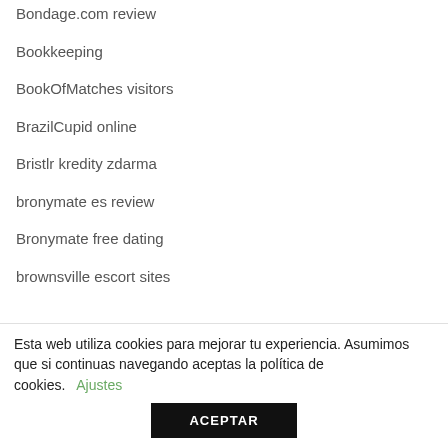Bondage.com review
Bookkeeping
BookOfMatches visitors
BrazilCupid online
Bristlr kredity zdarma
bronymate es review
Bronymate free dating
brownsville escort sites
Esta web utiliza cookies para mejorar tu experiencia. Asumimos que si continuas navegando aceptas la política de cookies. Ajustes
ACEPTAR